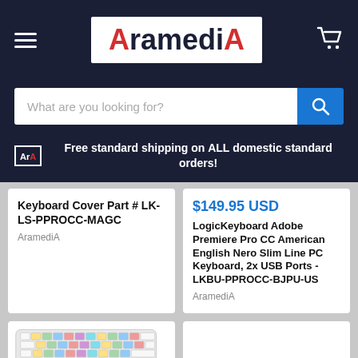AramediA
What are you looking for?
Free standard shipping on ALL domestic standard orders!
Keyboard Cover Part # LK-LS-PPROCC-MAGC
AramediA
$149.95 USD
LogicKeyboard Adobe Premiere Pro CC American English Nero Slim Line PC Keyboard, 2x USB Ports -LKBU-PPROCC-BJPU-US
AramediA
[Figure (photo): A colorful keyboard product photo shown in the bottom-left product card]
[Figure (photo): Bottom-right product card, blank/no image visible]